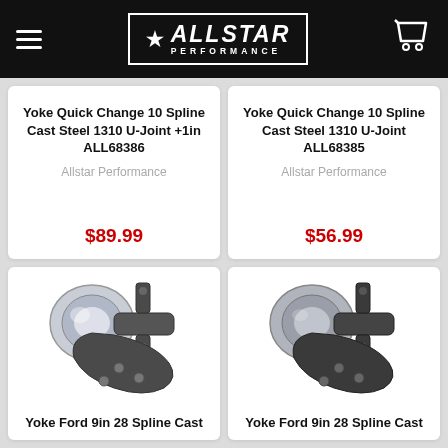[Figure (logo): Allstar Performance logo with star and border on black header bar]
Yoke Quick Change 10 Spline Cast Steel 1310 U-Joint +1in ALL68386
Allstar Performance
$89.99
Yoke Quick Change 10 Spline Cast Steel 1310 U-Joint ALL68385
Allstar Performance
$56.99
[Figure (photo): Yoke Ford 9in 28 Spline Cast - chrome and dark cast metal yoke component, left]
Yoke Ford 9in 28 Spline Cast
[Figure (photo): Yoke Ford 9in 28 Spline Cast - dark finish cast metal yoke component, right]
Yoke Ford 9in 28 Spline Cast